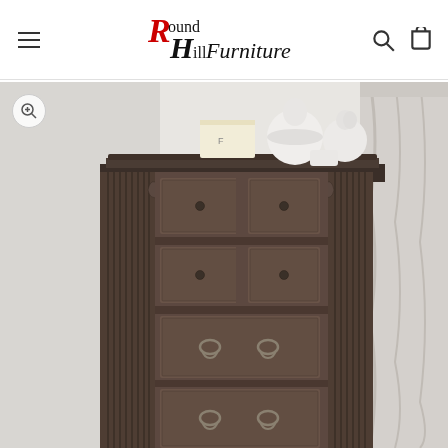Round Hill Furniture — navigation header with hamburger menu, logo, search and cart icons
[Figure (photo): A tall dark brown/grey wooden chest of drawers (highboy dresser) with ornate carved corner details, multiple drawers with round and ring-shaped handles, displayed against a light grey wall. White ceramic vases and a small box are on top of the dresser. A white sheer curtain is visible on the right side.]